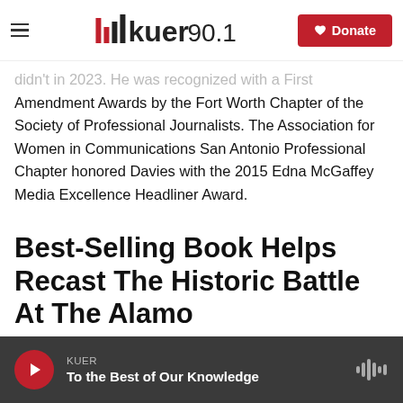KUER 90.1 — Donate
didn't in 2023. He was recognized with a First Amendment Awards by the Fort Worth Chapter of the Society of Professional Journalists. The Association for Women in Communications San Antonio Professional Chapter honored Davies with the 2015 Edna McGaffey Media Excellence Headliner Award.
Best-Selling Book Helps Recast The Historic Battle At The Alamo
David Martin Davies, August 9, 2021
KUER — To the Best of Our Knowledge